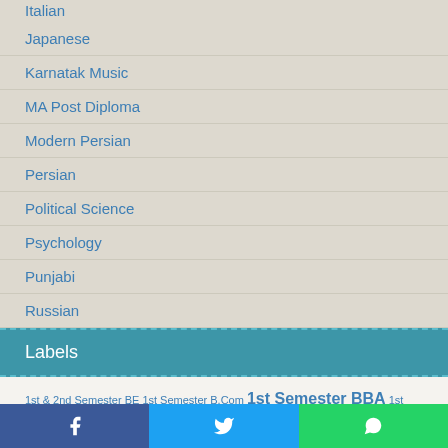Italian
Japanese
Karnatak Music
MA Post Diploma
Modern Persian
Persian
Political Science
Psychology
Punjabi
Russian
Sanskrit
Labels
1st & 2nd Semester BE 1st Semester B.Com 1st Semester BBA 1st Semester BCA (D) 1st Semester Bsc. IT (D) 1st Semester Bsc. IT 1